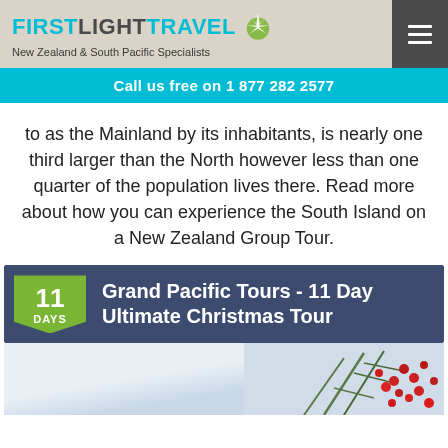FIRSTLIGHTTRAVEL — New Zealand & South Pacific Specialists
Call us free on 1 877 282 2577
to as the Mainland by its inhabitants, is nearly one third larger than the North however less than one quarter of the population lives there. Read more about how you can experience the South Island on a New Zealand Group Tour.
Grand Pacific Tours - 11 Day Ultimate Christmas Tour
[Figure (photo): Partial photo showing red berries on pine/holiday branches against a light sky background]